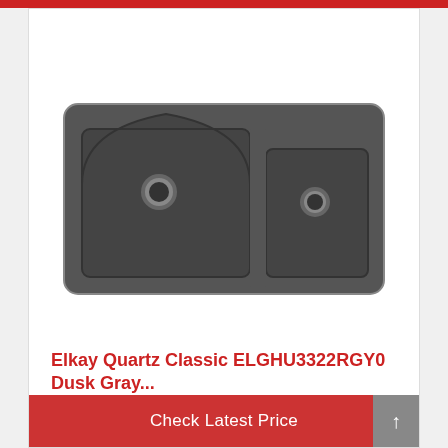[Figure (photo): Dark gray double-basin undermount kitchen sink (Elkay Quartz Classic ELGHU3322RGY0) shown from above. The larger left basin has an arched top edge, and the smaller right basin is rectangular. Each basin has a circular drain hole. The sink is dark charcoal/dusk gray in color.]
Elkay Quartz Classic ELGHU3322RGY0 Dusk Gray...
Check Latest Price